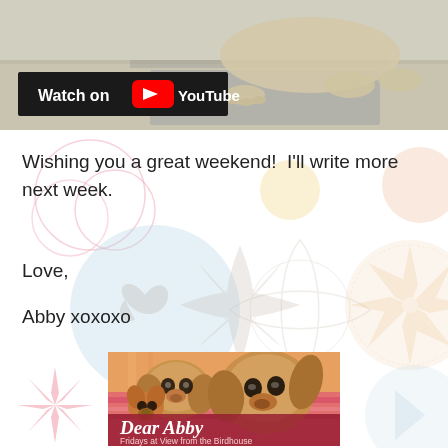[Figure (photo): Top portion of page showing a dog lying on a floor with paws visible, with a YouTube 'Watch on YouTube' badge overlaid in a dark rounded rectangle in the lower-left of the image area]
Wishing you a great weekend!  I'll write more next week.
Love,
Abby xoxoxo
[Figure (photo): Photo of two dachshund puppies lying together on a colorful blanket, with 'Dear Abby' text overlay in italic serif font and subtitle 'Fridays at View from the Birdhouse' on a dark red/maroon banner at the bottom]